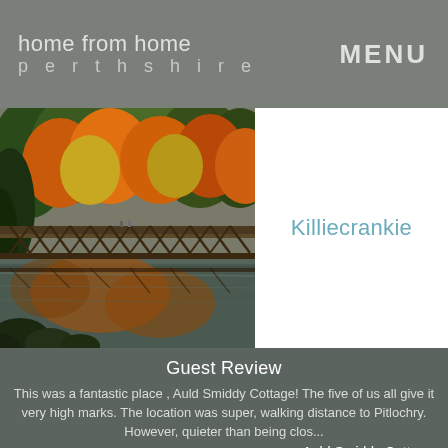home from home perthshire   MENU
[Figure (photo): Aerial view of a wooden railway/pedestrian bridge over a river surrounded by autumn-coloured trees in Killiecrankie, Perthshire, Scotland]
Killiecrankie
Guest Review
This was a fantastic place , Auld Smiddy Cottage! The five of us all give it very high marks. The location was super, walking distance to Pitlochry. However, quieter than being clos...
Auld Smiddy Cottage